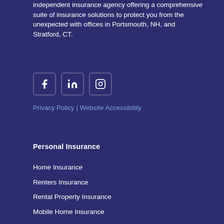independent insurance agency offering a comprehensive suite of insurance solutions to protect you from the unexpected with offices in Portsmouth, NH, and Stratford, CT.
[Figure (illustration): Social media icons: Facebook, LinkedIn, Instagram — white icons on dark navy rounded square backgrounds]
Privacy Policy | Website Accessibility
Personal Insurance
Home Insurance
Renters Insurance
Rental Property Insurance
Mobile Home Insurance